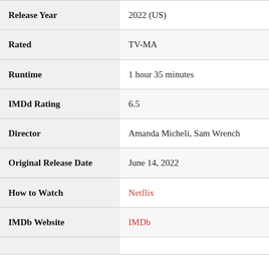| Field | Value |
| --- | --- |
| Release Year | 2022 (US) |
| Rated | TV-MA |
| Runtime | 1 hour 35 minutes |
| IMDd Rating | 6.5 |
| Director | Amanda Micheli, Sam Wrench |
| Original Release Date | June 14, 2022 |
| How to Watch | Netflix |
| IMDb Website | IMDb |